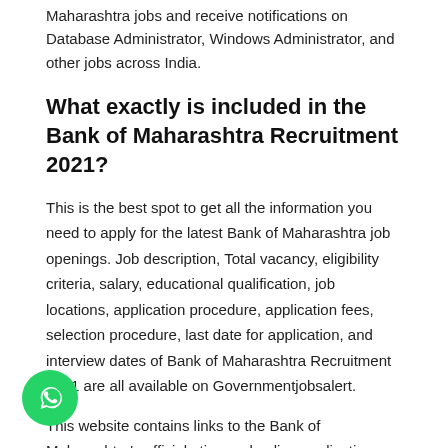Maharashtra jobs and receive notifications on Database Administrator, Windows Administrator, and other jobs across India.
What exactly is included in the Bank of Maharashtra Recruitment 2021?
This is the best spot to get all the information you need to apply for the latest Bank of Maharashtra job openings. Job description, Total vacancy, eligibility criteria, salary, educational qualification, job locations, application procedure, application fees, selection procedure, last date for application, and interview dates of Bank of Maharashtra Recruitment 2021 are all available on Governmentjobsalert.
This website contains links to the Bank of Maharashtra's official ation and online application form, allowing you to apply for of Maharashtra jobs quickly and easily. Furthermore, you